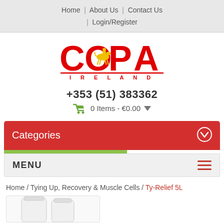Home | About Us | Contact Us | Login/Register
[Figure (logo): COPA Ireland logo — red bold text COPA with yellow jockey on horse inside the O, red underline, IRELAND spelled out below]
+353 (51) 383362
0 Items - €0.00
Categories
MENU
Home / Tying Up, Recovery & Muscle Cells / Ty-Relief 5L
[Figure (photo): Partial product image of white bottles/containers at bottom of page]